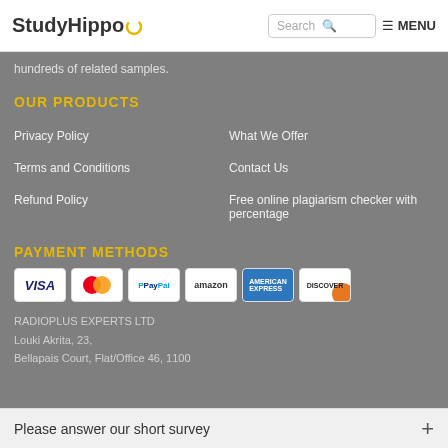StudyHippo | Search | MENU
hundreds of related samples.
OUR PRODUCTS
Privacy Policy
What We Offer
Terms and Conditions
Contact Us
Refund Policy
Free online plagiarism checker with percentage
PAYMENT METHODS
[Figure (other): Payment method icons: Visa, Mastercard, PayPal, Amazon, American Express, Discover]
RADIOPLUS EXPERTS LTD
Louki Akrita, 23,
Bellapais Court, Flat/Office 46, 1100
Please answer our short survey +